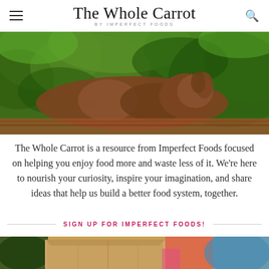The Whole Carrot by Imperfect Foods
[Figure (photo): A dark-skinned hand and forearm reaching into lush green leafy vegetables, photographed outdoors with natural lighting. The hand grips or picks leafy greens against a backdrop of abundant garden greenery.]
The Whole Carrot is a resource from Imperfect Foods focused on helping you enjoy food more and waste less of it. We're here to nourish your curiosity, inspire your imagination, and share ideas that help us build a better food system, together.
SIGN UP FOR IMPERFECT FOODS!
[Figure (photo): Partial view of a cardboard delivery box with colorful packaging, surrounded by produce and decorative elements with pink, orange and teal colors visible.]